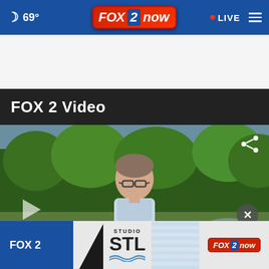69° FOX 2 NOW • LIVE
FOX 2 Video
[Figure (screenshot): Video thumbnail showing a man with glasses outdoors in front of trees, with a share icon in the top right, play button on the left, and close (X) button, plus a FOX 2 Studio STL advertisement banner at the bottom]